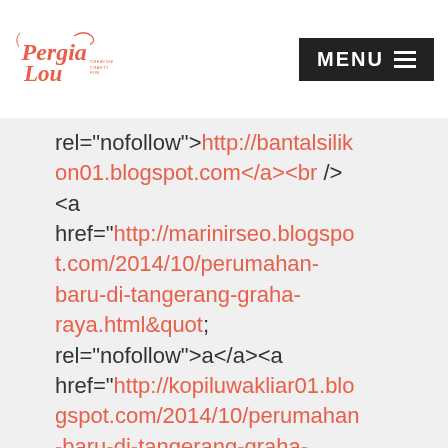Pergia Lou — MENU
rel="nofollow">http://bantalsilikon01.blogspot.com</a><br /> <a href="http://marinirseo.blogspot.com/2014/10/perumahan-baru-di-tangerang-graha-raya.html&quot; rel="nofollow">a</a><a href="http://kopiluwakliar01.blogspot.com/2014/10/perumahan-baru-di-tangerang-graha-raya.html&quot; rel="nofollow">a</a><a href="